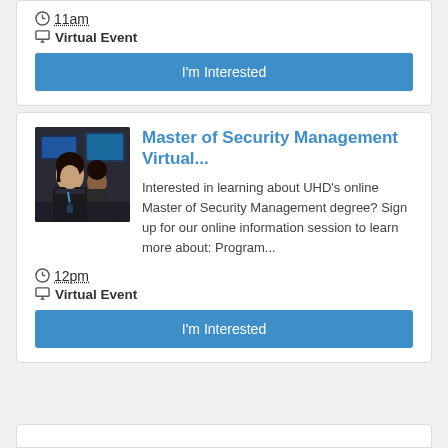11am
Virtual Event
I'm Interested
[Figure (photo): Photo of two women looking at computer screens in a security operations center environment]
Master of Security Management Virtual...
Interested in learning about UHD's online Master of Security Management degree? Sign up for our online information session to learn more about: Program...
12pm
Virtual Event
I'm Interested